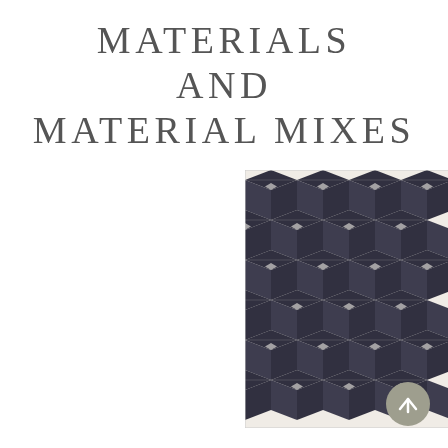MATERIALS AND MATERIAL MIXES
[Figure (photo): A black and white geometric pattern on a textile/rug surface, featuring repeating hexagonal cube-like shapes with diamond centers arranged in a tessellating 3D optical illusion pattern.]
[Figure (other): A circular back-to-top button with an upward arrow, in gray color, partially overlapping the bottom-right corner of the patterned image.]